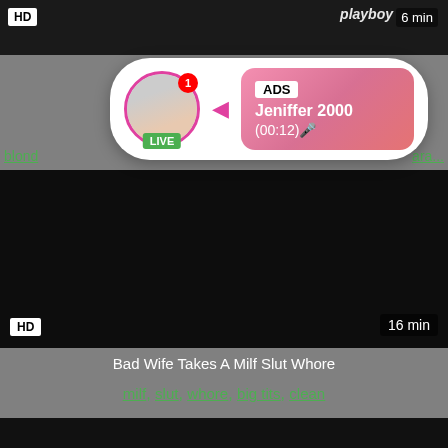[Figure (screenshot): Top dark video thumbnail with HD badge and 6 min duration, playboy logo visible]
[Figure (screenshot): Ad popup overlay showing avatar with LIVE badge, notification badge, ADS label, name Jeniffer 2000, time (00:12)]
blond
ara...
[Figure (screenshot): Main black video area with HD badge and 16 min duration]
Bad Wife Takes A Milf Slut Whore
milf, slut, whore, big tits, clean
[Figure (screenshot): Bottom dark video thumbnail strip]